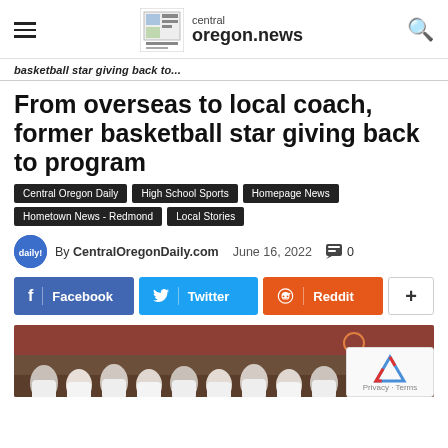central oregon.news
basketball star giving back to...
From overseas to local coach, former basketball star giving back to program
Central Oregon Daily
High School Sports
Homepage News
Hometown News - Redmond
Local Stories
By CentralOregonDaily.com   June 16, 2022   0
[Figure (infographic): Social share buttons: Facebook, Twitter, Reddit, and more (+)]
[Figure (photo): Group photo of youth basketball camp participants in a gymnasium, wearing white t-shirts, with bleachers in the background]